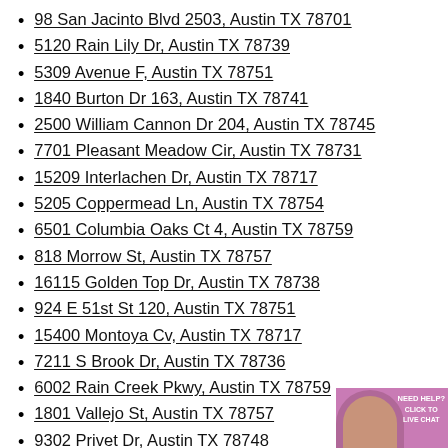98 San Jacinto Blvd 2503, Austin TX 78701
5120 Rain Lily Dr, Austin TX 78739
5309 Avenue F, Austin TX 78751
1840 Burton Dr 163, Austin TX 78741
2500 William Cannon Dr 204, Austin TX 78745
7701 Pleasant Meadow Cir, Austin TX 78731
15209 Interlachen Dr, Austin TX 78717
5205 Coppermead Ln, Austin TX 78754
6501 Columbia Oaks Ct 4, Austin TX 78759
818 Morrow St, Austin TX 78757
16115 Golden Top Dr, Austin TX 78738
924 E 51st St 120, Austin TX 78751
15400 Montoya Cv, Austin TX 78717
7211 S Brook Dr, Austin TX 78736
6002 Rain Creek Pkwy, Austin TX 78759
1801 Vallejo St, Austin TX 78757
9302 Privet Dr, Austin TX 78748
5908 Silver Screen Dr, Austin TX 78…
3012 Stokes Dr 2, Austin TX 78702